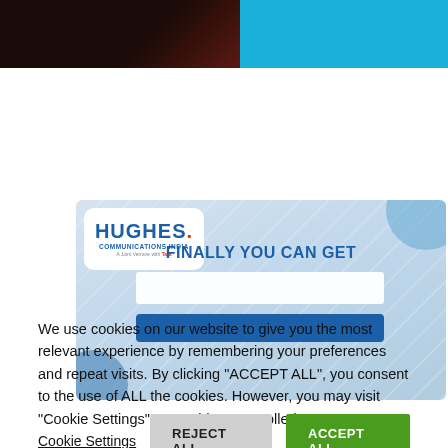[Figure (screenshot): Top banner with dark left portion and bright blue right portion]
[Figure (screenshot): Hughes Communications India advertisement card with logo, 'FINALLY YOU CAN GET' heading, a white blurred bar and a blue button bar, decorative circles, on light blue diagonal-lined background]
We use cookies on our website to give you the most relevant experience by remembering your preferences and repeat visits. By clicking "ACCEPT ALL", you consent to the use of ALL the cookies. However, you may visit "Cookie Settings" to provide a controlled consent.
Cookie Settings
REJECT ALL
ACCEPT ALL